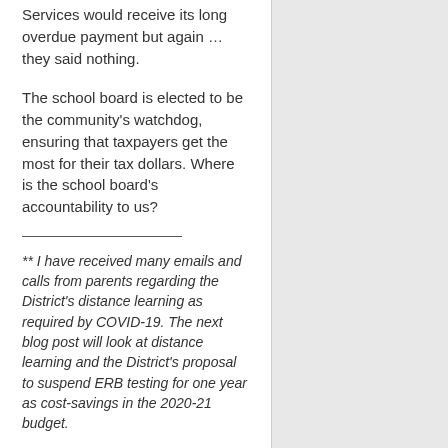Services would receive its long overdue payment but again … they said nothing.
The school board is elected to be the community's watchdog, ensuring that taxpayers get the most for their tax dollars. Where is the school board's accountability to us?
** I have received many emails and calls from parents regarding the District's distance learning as required by COVID-19. The next blog post will look at distance learning and the District's proposal to suspend ERB testing for one year as cost-savings in the 2020-21 budget.